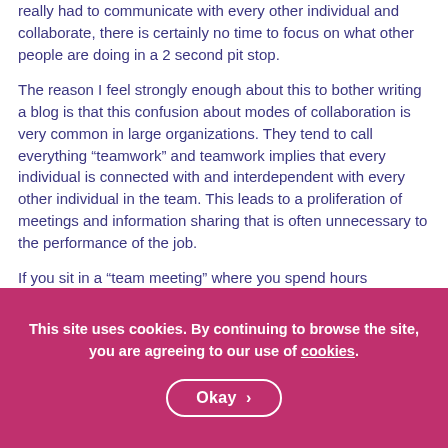really had to communicate with every other individual and collaborate, there is certainly no time to focus on what other people are doing in a 2 second pit stop.
The reason I feel strongly enough about this to bother writing a blog is that this confusion about modes of collaboration is very common in large organizations. They tend to call everything “teamwork” and teamwork implies that every individual is connected with and interdependent with every other individual in the team. This leads to a proliferation of meetings and information sharing that is often unnecessary to the performance of the job.
If you sit in a “team meeting” where you spend hours
This site uses cookies. By continuing to browse the site, you are agreeing to our use of cookies.
Okay >